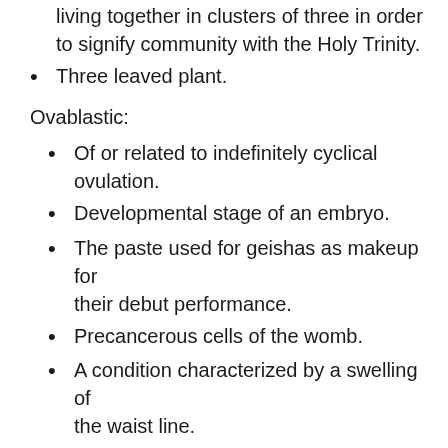living together in clusters of three in order to signify community with the Holy Trinity.
Three leaved plant.
Ovablastic:
Of or related to indefinitely cyclical ovulation.
Developmental stage of an embryo.
The paste used for geishas as makeup for their debut performance.
Precancerous cells of the womb.
A condition characterized by a swelling of the waist line.
Deformed development of an egg.
Stage of embryonic development where cells fold form cavities.